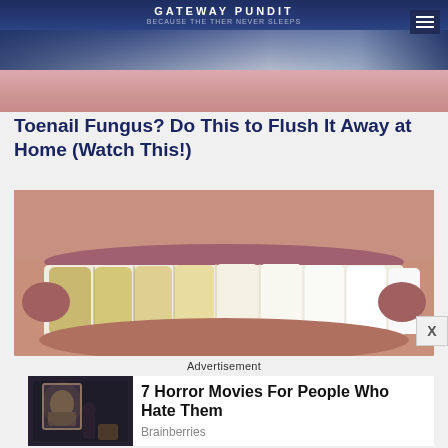GATEWAY PUNDIT
[Figure (photo): Close-up photo of a smiling mouth showing teeth, left side yellowed and right side white/bright, used as before-and-after dental comparison image.]
Toenail Fungus? Do This to Flush It Away at Home (Watch This!)
Advertisement
[Figure (photo): Advertisement card showing a dark moody horror movie scene with a person looking at a framed portrait on the wall.]
7 Horror Movies For People Who Hate Them
Brainberries